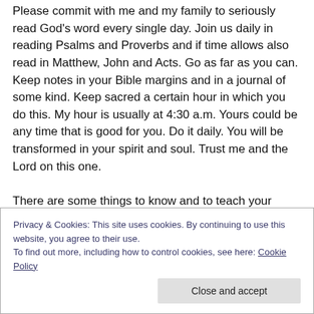Please commit with me and my family to seriously read God's word every single day. Join us daily in reading Psalms and Proverbs and if time allows also read in Matthew, John and Acts. Go as far as you can. Keep notes in your Bible margins and in a journal of some kind. Keep sacred a certain hour in which you do this. My hour is usually at 4:30 a.m. Yours could be any time that is good for you. Do it daily. You will be transformed in your spirit and soul. Trust me and the Lord on this one.
There are some things to know and to teach your family, your church and all who will listen.
Privacy & Cookies: This site uses cookies. By continuing to use this website, you agree to their use. To find out more, including how to control cookies, see here: Cookie Policy